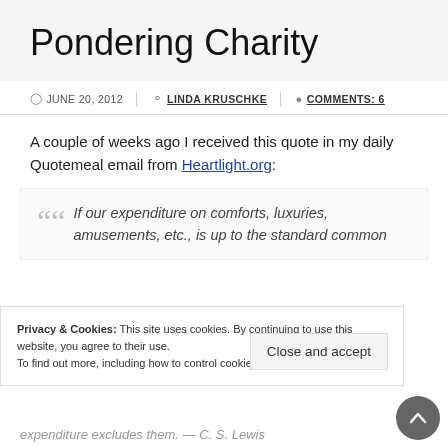Pondering Charity
JUNE 20, 2012  LINDA KRUSCHKE  COMMENTS: 6
A couple of weeks ago I received this quote in my daily Quotemeal email from Heartlight.org:
If our expenditure on comforts, luxuries, amusements, etc., is up to the standard common among those with the same income as our own, we are probably giving away too little. If our charities do not at all pinch or hamper us, I should say they are too small. There ought to be things we should like to do and cannot do because our expenditure on charity excludes them. — C. S. Lewis
Privacy & Cookies: This site uses cookies. By continuing to use this website, you agree to their use.
To find out more, including how to control cookies, see here: Cookie Policy
Close and accept